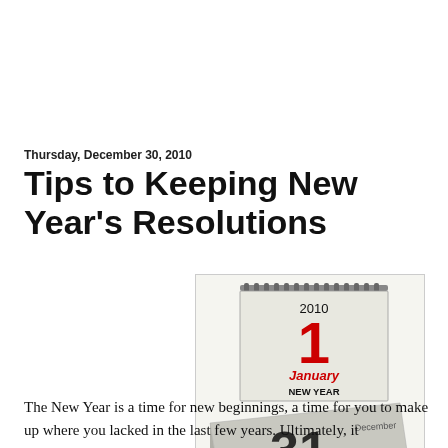Thursday, December 30, 2010
Tips to Keeping New Year's Resolutions
[Figure (photo): A calendar showing January 1, 2010 New Year with a curled page showing 31 beneath it]
The New Year is a time for new beginnings, a time for you to make up where you lacked in the last few years. Ultimately, it